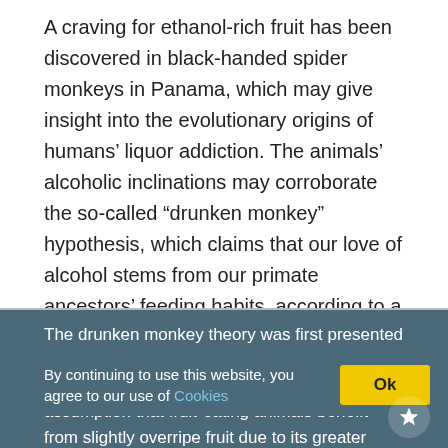A craving for ethanol-rich fruit has been discovered in black-handed spider monkeys in Panama, which may give insight into the evolutionary origins of humans' liquor addiction. The animals' alcoholic inclinations may corroborate the so-called “drunken monkey” hypothesis, which claims that our love of alcohol stems from our primate ancestors' feeding habits, according to a recent study published in the journal Royal Society Open Science.
The drunken monkey theory was first presented by biologist Robert Dudley at the University of California, Berkeley, and is based on the assumption that fruit-eating animals benefit from slightly overripe fruit due to its greater sugar content and calorific value. However, as those sugars ferment, ethanol is
By continuing to use this website, you agree to our use of Cookies